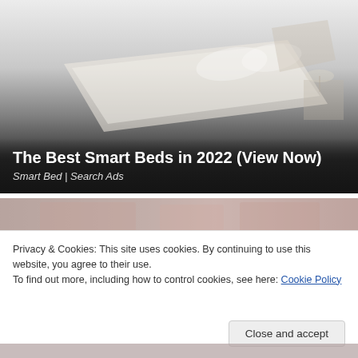[Figure (illustration): Advertisement banner showing an isometric illustration of a smart bed/bedroom setup with a gradient overlay fading from light gray at top to dark at the bottom. Text overlay reads 'The Best Smart Beds in 2022 (View Now)' and 'Smart Bed | Search Ads'.]
[Figure (photo): Partial banner image visible below the first ad, showing a blurred/cropped photo with pinkish-red tones, partially obscured by cookie consent overlay.]
Privacy & Cookies: This site uses cookies. By continuing to use this website, you agree to their use.
To find out more, including how to control cookies, see here: Cookie Policy
Close and accept